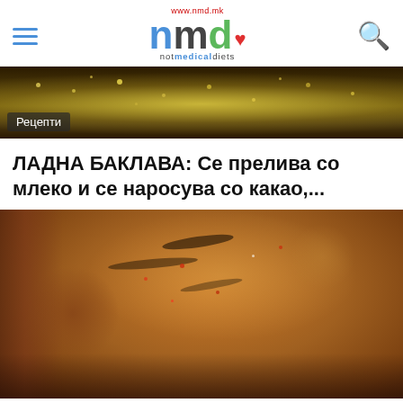www.nmd.mk — notmedicaldiets logo header with hamburger menu and search icon
[Figure (photo): Close-up photo of a fish dish with yellow spice specks on a dark background, with a 'Рецепти' badge overlay]
ЛАДНА БАКЛАВА: Се прелива со млеко и се наросува со какао,...
[Figure (photo): Close-up photo of a grilled seasoned meat steak with spices, on a plate with other food items]